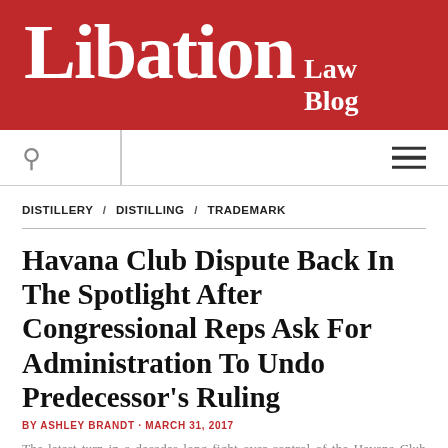Libation Law Blog
DISTILLERY / DISTILLING / TRADEMARK
Havana Club Dispute Back In The Spotlight After Congressional Reps Ask For Administration To Undo Predecessor's Ruling
BY ASHLEY BRANDT · MARCH 31, 2017
The latest turn in a decades long fight over control of the Havana Club trademark for rum came from the Capitol this week. Congressional leaders from Florida
Privacy & Cookies: This site uses cookies. By continuing to use this website, you agree to their use. To find out more, including how to control cookies, see here: Cookie Policy
Close and accept